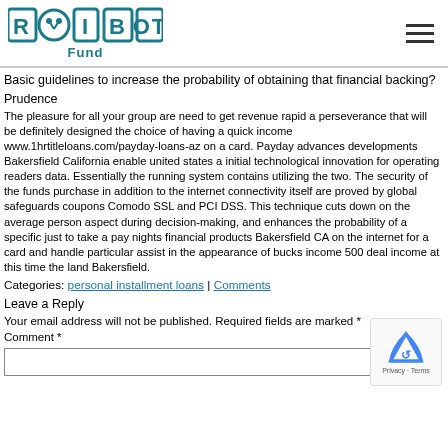ROIBOT Fund
Basic guidelines to increase the probability of obtaining that financial backing?
Prudence
The pleasure for all your group are need to get revenue rapid a perseverance that will be definitely designed the choice of having a quick income www.1hrtitleloans.com/payday-loans-az on a card. Payday advances developments Bakersfield California enable united states a initial technological innovation for operating readers data. Essentially the running system contains utilizing the two. The security of the funds purchase in addition to the internet connectivity itself are proved by global safeguards coupons Comodo SSL and PCI DSS. This technique cuts down on the average person aspect during decision-making, and enhances the probability of a specific just to take a pay nights financial products Bakersfield CA on the internet for a card and handle particular assist in the appearance of bucks income 500 deal income at this time the land Bakersfield.
Categories: personal installment loans | Comments
Leave a Reply
Your email address will not be published. Required fields are marked *
Comment *